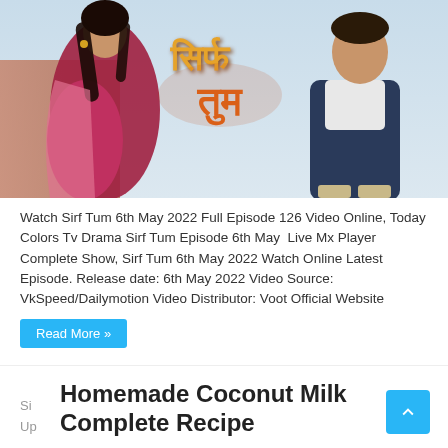[Figure (photo): Promotional image for Indian TV drama 'Sirf Tum' showing a woman in a pink saree on the left, a man in a blue jacket on the right, and a decorative Hindi title text in the center on a light blue background.]
Watch Sirf Tum 6th May 2022 Full Episode 126 Video Online, Today Colors Tv Drama Sirf Tum Episode 6th May  Live Mx Player Complete Show, Sirf Tum 6th May 2022 Watch Online Latest Episode. Release date: 6th May 2022 Video Source: VkSpeed/Dailymotion Video Distributor: Voot Official Website
Read More »
Homemade Coconut Milk Complete Recipe
Si‌
Up